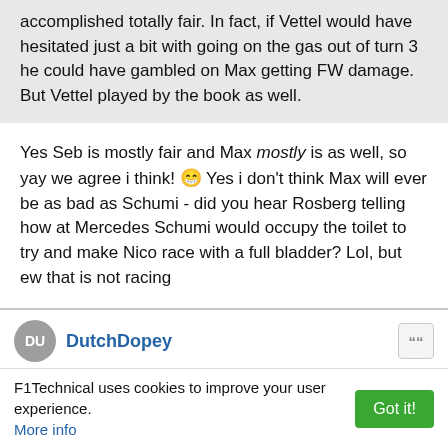accomplished totally fair. In fact, if Vettel would have hesitated just a bit with going on the gas out of turn 3 he could have gambled on Max getting FW damage. But Vettel played by the book as well.
Yes Seb is mostly fair and Max mostly is as well, so yay we agree i think! 😁 Yes i don't think Max will ever be as bad as Schumi - did you hear Rosberg telling how at Mercedes Schumi would occupy the toilet to try and make Nico race with a full bladder? Lol, but ew that is not racing
DutchDopey
09 Jul 2019, 15:22
NathanOlder wrote: ↑
DutchDopey wrote: ↑
F1Technical uses cookies to improve your user experience. More info